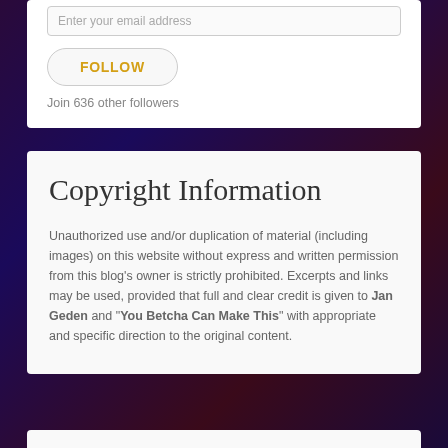Enter your email address
FOLLOW
Join 636 other followers
Copyright Information
Unauthorized use and/or duplication of material (including images) on this website without express and written permission from this blog’s owner is strictly prohibited. Excerpts and links may be used, provided that full and clear credit is given to Jan Geden and “You Betcha Can Make This” with appropriate and specific direction to the original content.